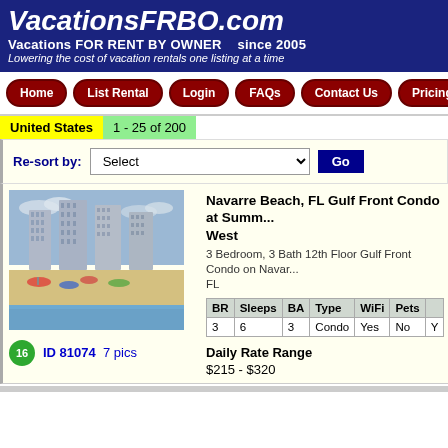VacationsFRBO.com
Vacations FOR RENT BY OWNER   since 2005
Lowering the cost of vacation rentals one listing at a time
Home | List Rental | Login | FAQs | Contact Us | Pricing | A
United States   1 - 25 of 200
Re-sort by: Select   Go
[Figure (photo): Aerial/ground view of gulf-front high-rise condo buildings on Navarre Beach, FL, with beach and ocean in background]
ID 81074   7 pics
Navarre Beach, FL Gulf Front Condo at Summ... West
3 Bedroom, 3 Bath 12th Floor Gulf Front Condo on Navar... FL
| BR | Sleeps | BA | Type | WiFi | Pets |  |
| --- | --- | --- | --- | --- | --- | --- |
| 3 | 6 | 3 | Condo | Yes | No | Y |
Daily Rate Range
$215 - $320